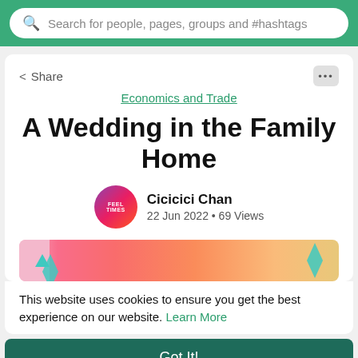Search for people, pages, groups and #hashtags
Share
Economics and Trade
A Wedding in the Family Home
Cicicici Chan
22 Jun 2022 • 69 Views
[Figure (illustration): Decorative banner image with pink-to-orange gradient and teal diamond accents on left and right sides]
This website uses cookies to ensure you get the best experience on our website. Learn More
Got It!